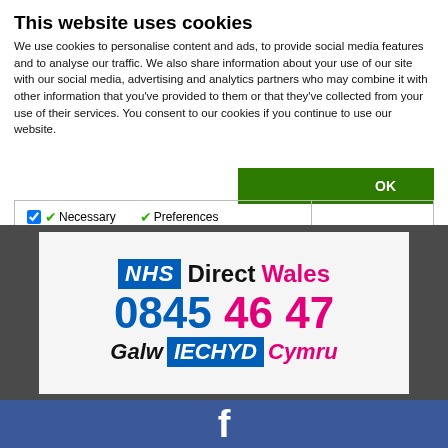This website uses cookies
We use cookies to personalise content and ads, to provide social media features and to analyse our traffic. We also share information about your use of our site with our social media, advertising and analytics partners who may combine it with other information that you've provided to them or that they've collected from your use of their services. You consent to our cookies if you continue to use our website.
[Figure (logo): NHS Direct Wales logo with phone number 0845 46 47 and Welsh text Galw IECHYD Cymru]
[Figure (logo): Facebook logo partial view]